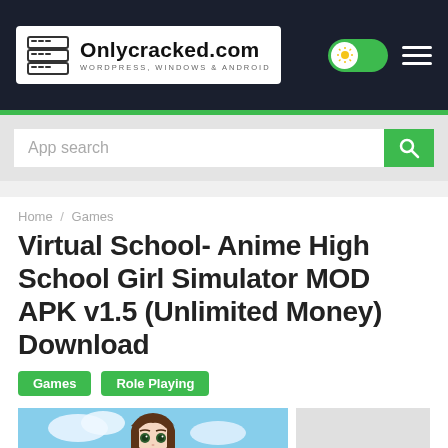Onlycracked.com — WORDPRESS, WINDOWS & ANDROID
App search
Home / Games
Virtual School- Anime High School Girl Simulator MOD APK v1.5 (Unlimited Money) Download
Games
Role Playing
[Figure (illustration): Anime girl character wearing school uniform with outdoor background]